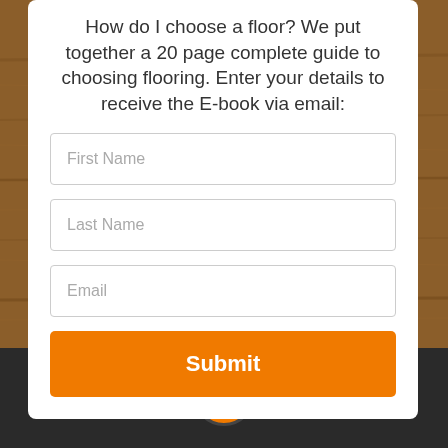How do I choose a floor? We put together a 20 page complete guide to choosing flooring. Enter your details to receive the E-book via email:
[Figure (screenshot): Web form with First Name, Last Name, Email fields and an orange Submit button, displayed on a wood-grain background with a dark footer bar containing an orange phone icon circle.]